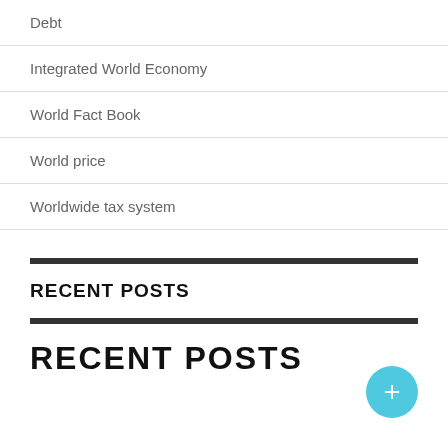Debt
Integrated World Economy
World Fact Book
World price
Worldwide tax system
RECENT POSTS
RECENT POSTS